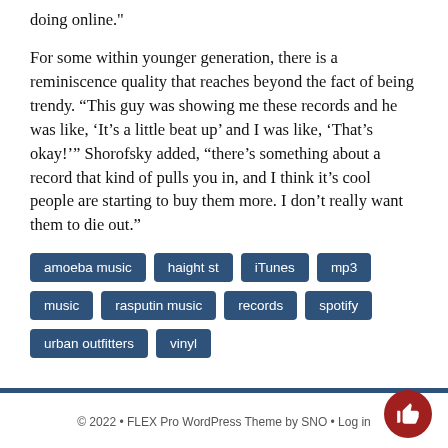doing online."

For some within younger generation, there is a reminiscence quality that reaches beyond the fact of being trendy. “This guy was showing me these records and he was like, ‘It’s a little beat up’ and I was like, ‘That’s okay!’” Shorofsky added, “there’s something about a record that kind of pulls you in, and I think it’s cool people are starting to buy them more. I don’t really want them to die out.”
amoeba music
haight st
iTunes
mp3
music
rasputin music
records
spotify
urban outfitters
vinyl
© 2022 • FLEX Pro WordPress Theme by SNO • Log in